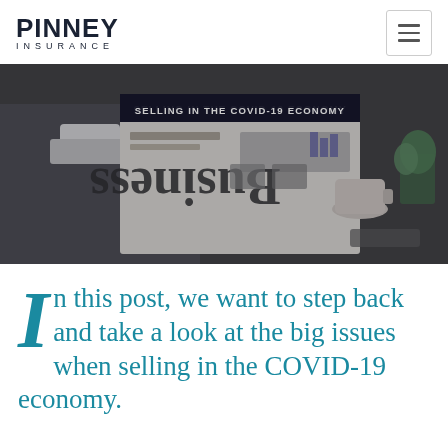PINNEY INSURANCE
[Figure (photo): Person in business suit reading a newspaper with 'Business' visible on the front page, shown upside-down. A coffee cup and tablet are visible in the background. Banner text reads: SELLING IN THE COVID-19 ECONOMY.]
In this post, we want to step back and take a look at the big issues when selling in the COVID-19 economy.